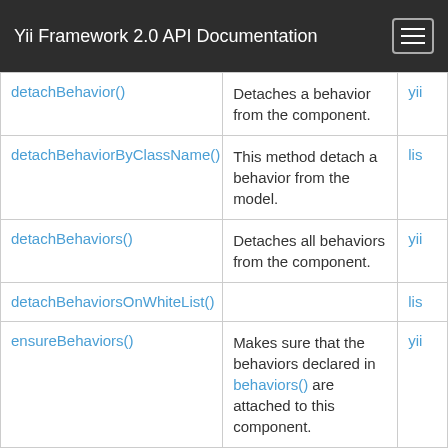Yii Framework 2.0 API Documentation
| Method | Description | Source |
| --- | --- | --- |
| detachBehavior() | Detaches a behavior from the component. | yii |
| detachBehaviorByClassName() | This method detach a behavior from the model. | lis |
| detachBehaviors() | Detaches all behaviors from the component. | yii |
| detachBehaviorsOnWhiteList() |  | lis |
| ensureBehaviors() | Makes sure that the behaviors declared in behaviors() are attached to this component. | yii |
| equals() | Returns a value indicating whether the given active record is the same as the current one. | yii |